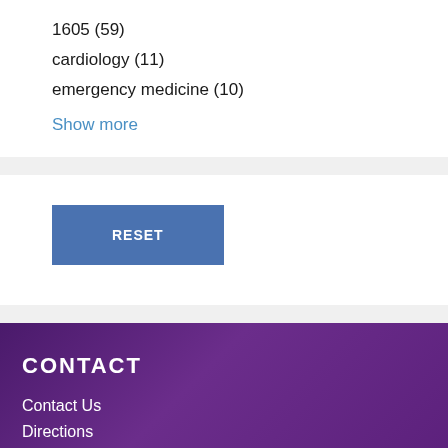1605 (59)
cardiology (11)
emergency medicine (10)
Show more
RESET
CONTACT
Contact Us
Directions
Subscribe